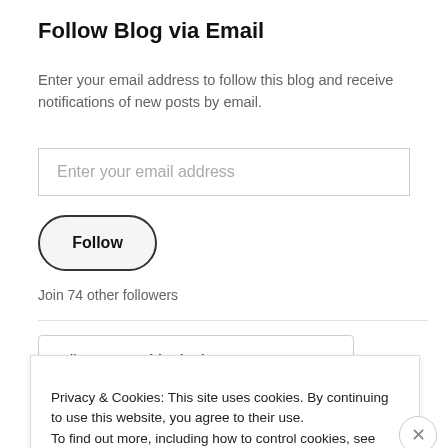Follow Blog via Email
Enter your email address to follow this blog and receive notifications of new posts by email.
[Figure (screenshot): Email input field with placeholder text 'Enter your email address']
[Figure (screenshot): Follow button, rounded rectangle style]
Join 74 other followers
[Figure (screenshot): Follow me on bloglovin' widget box]
Privacy & Cookies: This site uses cookies. By continuing to use this website, you agree to their use.
To find out more, including how to control cookies, see here: Cookie Policy
Close and accept